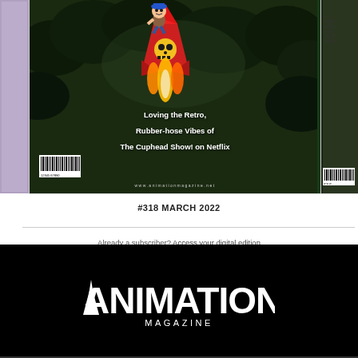[Figure (illustration): Magazine covers in a horizontal strip. Center cover shows The Cuphead Show! animation art - a cartoon character riding a red rocket with flame, against dark jungle background. Text reads 'Loving the Retro, Rubber-hose Vibes of The Cuphead Show! on Netflix'. Partial covers visible on left and right edges.]
#318 MARCH 2022
Already a subscriber? Access your digital edition
[Figure (logo): Animation Magazine logo in white on black background. Large stylized 'ANIMATION' text with triangular/spiked lettering, and 'MAGAZINE' in smaller text beneath.]